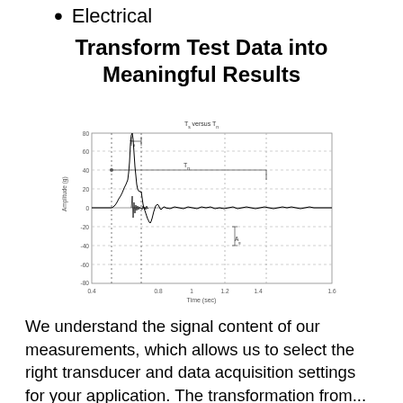Electrical
Transform Test Data into Meaningful Results
[Figure (continuous-plot): Waveform plot titled 'T_s versus T_n' showing Amplitude (g) on y-axis from -80 to 80 and Time (sec) on x-axis from 0.4 to 1.6. A large spike near t=0.6 with decaying oscillations. Horizontal grey lines mark T_n and A/g annotations. Dotted vertical lines at approximately t=0.5, 0.65, 1.2, and 1.4.]
We understand the signal content of our measurements, which allows us to select the right transducer and data acquisition settings for your application. The transformation from...